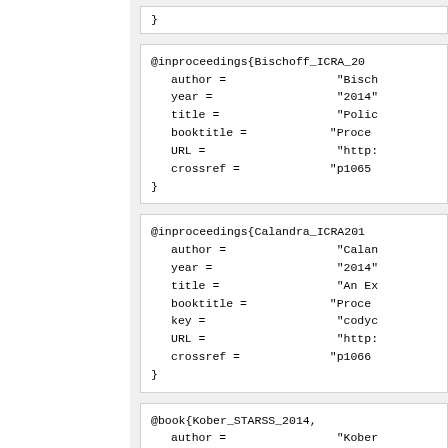@inproceedings{Bischoff_ICRA_20
    author =                "Bisch
    year =                  "2014"
    title =                 "Polic
    booktitle =             "Proce
    URL =                   "http:
    crossref =              "p1065
}
@inproceedings{Calandra_ICRA201
    author =                "Calan
    year =                  "2014"
    title =                 "An Ex
    booktitle =             "Proce
    key =                   "codyc
    URL =                   "http:
    crossref =              "p1066
}
@book{Kober_STARSS_2014,
    author =                "Kober
    year =                  "2014"
    title =                 "Learn